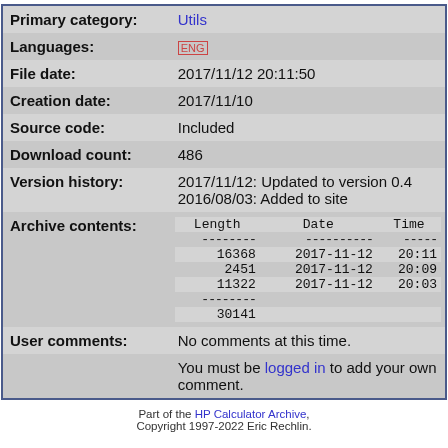| Field | Value |
| --- | --- |
| Primary category: | Utils |
| Languages: | ENG |
| File date: | 2017/11/12 20:11:50 |
| Creation date: | 2017/11/10 |
| Source code: | Included |
| Download count: | 486 |
| Version history: | 2017/11/12: Updated to version 0.4
2016/08/03: Added to site |
| Archive contents: | Length  Date       Time
-------- ---------- -----
16368 2017-11-12 20:11
 2451 2017-11-12 20:09
11322 2017-11-12 20:03
--------
30141 |
| User comments: | No comments at this time.
You must be logged in to add your own comment. |
Part of the HP Calculator Archive,
Copyright 1997-2022 Eric Rechlin.